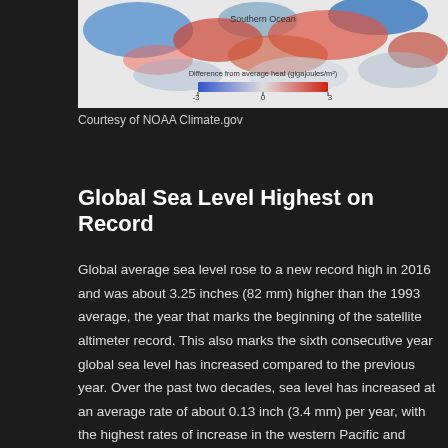[Figure (map): Global ocean heat content map showing difference from average heat in gigajoules per square meter, with a red-blue color scale. Blue indicates -3, neutral at 0, red at +3. Label 'Southern Ocean' visible. Color bar shows scale from -3 to 3 gigajoules/m².]
Courtesy of NOAA Climate.gov
Global Sea Level Highest on Record
Global average sea level rose to a new record high in 2016 and was about 3.25 inches (82 mm) higher than the 1993 average, the year that marks the beginning of the satellite altimeter record. This also marks the sixth consecutive year global sea level has increased compared to the previous year. Over the past two decades, sea level has increased at an average rate of about 0.13 inch (3.4 mm) per year, with the highest rates of increase in the western Pacific and Indian Oceans.